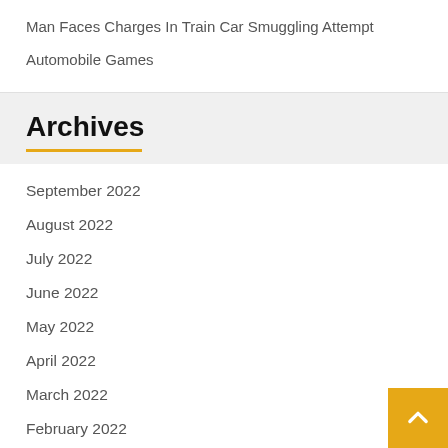Man Faces Charges In Train Car Smuggling Attempt
Automobile Games
Archives
September 2022
August 2022
July 2022
June 2022
May 2022
April 2022
March 2022
February 2022
January 2022